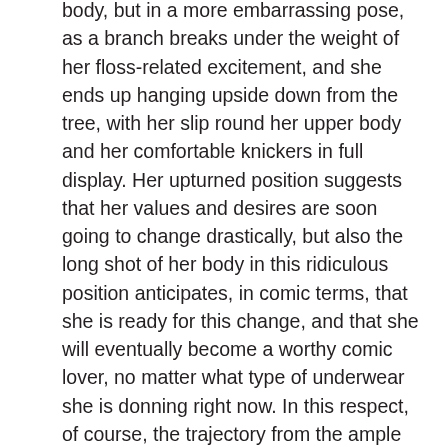body, but in a more embarrassing pose, as a branch breaks under the weight of her floss-related excitement, and she ends up hanging upside down from the tree, with her slip round her upper body and her comfortable knickers in full display. Her upturned position suggests that her values and desires are soon going to change drastically, but also the long shot of her body in this ridiculous position anticipates, in comic terms, that she is ready for this change, and that she will eventually become a worthy comic lover, no matter what type of underwear she is donning right now. In this respect, of course, the trajectory from the ample knickers to the black vibrating panties openly reflects the evolution of Abby's attention to the centrality of sexual desire in her life.
Dutifully reacting to Abby's screams, Colin comes to the rescue, still only wrapped in his bath towel, and